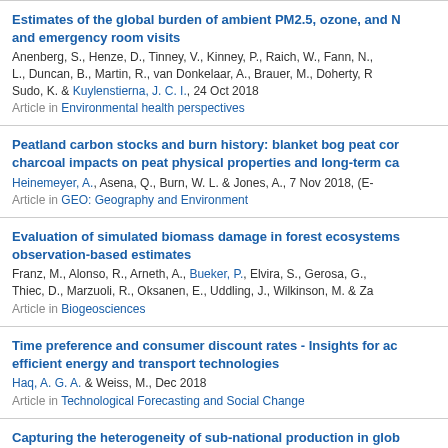Estimates of the global burden of ambient PM2.5, ozone, and N... and emergency room visits
Anenberg, S., Henze, D., Tinney, V., Kinney, P., Raich, W., Fann, N., L., Duncan, B., Martin, R., van Donkelaar, A., Brauer, M., Doherty, R., Sudo, K. & Kuylenstierna, J. C. I., 24 Oct 2018
Article in Environmental health perspectives
Peatland carbon stocks and burn history: blanket bog peat cor... charcoal impacts on peat physical properties and long-term ca...
Heinemeyer, A., Asena, Q., Burn, W. L. & Jones, A., 7 Nov 2018, (E-...
Article in GEO: Geography and Environment
Evaluation of simulated biomass damage in forest ecosystems... observation-based estimates
Franz, M., Alonso, R., Arneth, A., Bueker, P., Elvira, S., Gerosa, G., Thiec, D., Marzuoli, R., Oksanen, E., Uddling, J., Wilkinson, M. & Za...
Article in Biogeosciences
Time preference and consumer discount rates - Insights for ac... efficient energy and transport technologies
Haq, A. G. A. & Weiss, M., Dec 2018
Article in Technological Forecasting and Social Change
Capturing the heterogeneity of sub-national production in glob...
Croft, S., West, C. D. & Green, J. M. H., 1 Dec 2018
Article in Journal of Cleaner Production